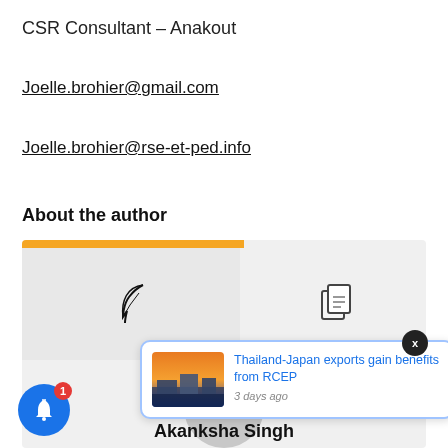CSR Consultant – Anakout
Joelle.brohier@gmail.com
Joelle.brohier@rse-et-ped.info
About the author
[Figure (screenshot): Author panel with orange bar, feather icon on left, clipboard icon on right, avatar circle below, and author name 'Akanksha Singh']
[Figure (screenshot): Notification toast: 'Thailand-Japan exports gain benefits from RCEP' with thumbnail image, 3 days ago, blue border, close X button]
[Figure (infographic): Blue bell notification button with red badge showing count 1]